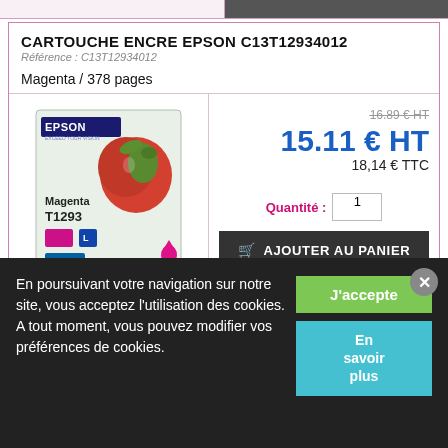[Figure (screenshot): Top strip showing partial product images from previous listings]
CARTOUCHE ENCRE EPSON C13T12934012
Référence : C13T12934012
Magenta / 378 pages
[Figure (photo): Epson Magenta T1293 ink cartridge product image on packaging showing apple]
16.89 € HT
15.11 € HT
18,14 € TTC
Quantité : 1
AJOUTER AU PANIER
CARTOUCHE D'ENCRE EPSON T1283
MAGENTA
En poursuivant votre navigation sur notre site, vous acceptez l'utilisation des cookies. A tout moment, vous pouvez modifier vos préférences de cookies.
J'accepte
En savoir plus